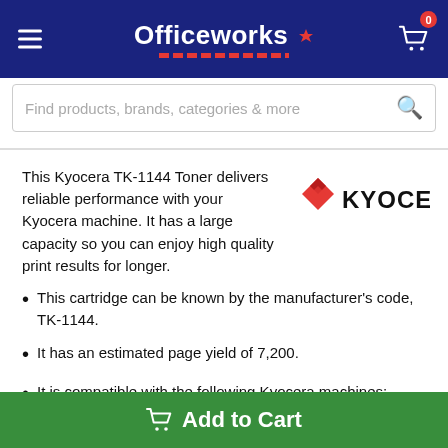Officeworks
Find products, brands, categories & more
This Kyocera TK-1144 Toner delivers reliable performance with your Kyocera machine. It has a large capacity so you can enjoy high quality print results for longer.
[Figure (logo): Kyocera logo in red and black]
This cartridge can be known by the manufacturer's code, TK-1144.
It has an estimated page yield of 7,200.
It is compatible with the following Kyocera machines: FS1135, FS1035, FS1135MFP, FS1035MFP, M2535DN and M2035DN.
Add to Cart